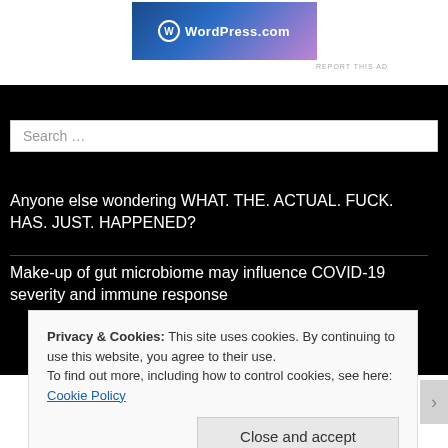[Figure (logo): WordPress.com banner advertisement with blue-to-pink gradient background and WordPress logo]
REPORT THIS AD
Search …
Anyone else wondering WHAT. THE. ACTUAL. FUCK. HAS. JUST. HAPPENED?
Make-up of gut microbiome may influence COVID-19 severity and immune response
Privacy & Cookies: This site uses cookies. By continuing to use this website, you agree to their use.
To find out more, including how to control cookies, see here: Cookie Policy
Close and accept
REPORT THIS AD